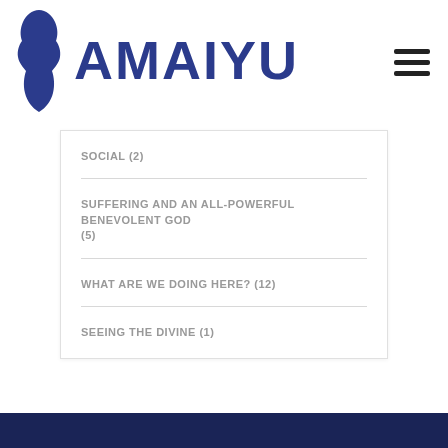[Figure (logo): AMAIYU logo with a stylized blue figure/face silhouette icon on the left and bold blue text 'AMAIYU' on the right]
SOCIAL (2)
SUFFERING AND AN ALL-POWERFUL BENEVOLENT GOD (5)
WHAT ARE WE DOING HERE? (12)
SEEING THE DIVINE (1)